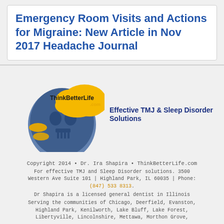Emergency Room Visits and Actions for Migraine: New Article in Nov 2017 Headache Journal
[Figure (logo): ThinkBetterLife.com logo with brain/skull imagery and thought bubble, alongside tagline 'Effective TMJ & Sleep Disorder Solutions']
Copyright 2014 • Dr. Ira Shapira • ThinkBetterLife.com

For effective TMJ and Sleep Disorder solutions. 3500 Western Ave Suite 101 | Highland Park, IL 60035 | Phone: (847) 533 8313.

Dr Shapira is a licensed general dentist in Illinois

Serving the communities of Chicago, Deerfield, Evanston, Highland Park, Kenilworth, Lake Bluff, Lake Forest, Libertyville, Lincolnshire, Mettawa, Morthon Grove,